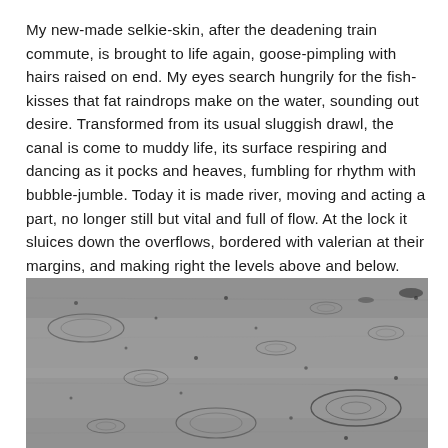My new-made selkie-skin, after the deadening train commute, is brought to life again, goose-pimpling with hairs raised on end. My eyes search hungrily for the fish-kisses that fat raindrops make on the water, sounding out desire. Transformed from its usual sluggish drawl, the canal is come to muddy life, its surface respiring and dancing as it pocks and heaves, fumbling for rhythm with bubble-jumble. Today it is made river, moving and acting a part, no longer still but vital and full of flow. At the lock it sluices down the overflows, bordered with valerian at their margins, and making right the levels above and below.
[Figure (photo): Black and white photograph of a water surface with rain falling on it, creating ripples and circular patterns across the entire surface, giving the water a textured, animated appearance.]